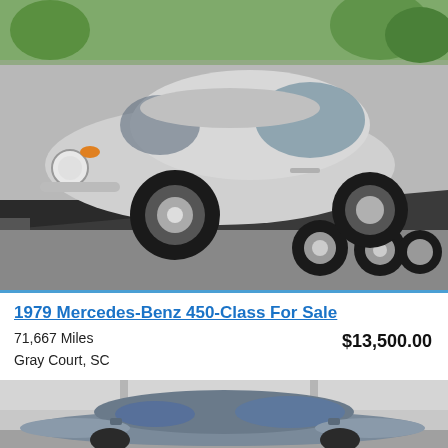[Figure (photo): White VW Beetle convertible on a flatbed trailer/tow truck, photographed outdoors with trees in background]
1979 Mercedes-Benz 450-Class For Sale
71,667 Miles
Gray Court, SC
$13,500.00
[Figure (photo): Blue/gray Mercedes-Benz 450-Class sedan photographed in a parking lot or dealership, partial view showing front and top of the car]